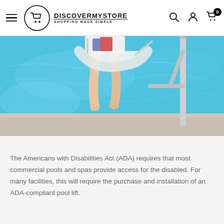DISCOVERMYSTORE — SHOPPING MADE SIMPLE
[Figure (photo): Person being lowered into a swimming pool via a pool lift. The pool water is bright blue. The person is seated in a white sling/seat and wearing shorts. A metal pole of the lift is visible on the right. Pool deck is visible at the bottom.]
The Americans with Disabilities Act (ADA) requires that most commercial pools and spas provide access for the disabled. For many facilities, this will require the purchase and installation of an ADA-compliant pool lift.